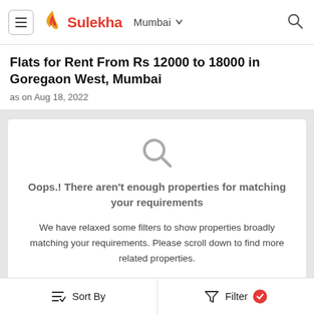Sulekha   Mumbai
Flats for Rent From Rs 12000 to 18000 in Goregaon West, Mumbai
as on Aug 18, 2022
Oops.! There aren’t enough properties for matching your requirements
We have relaxed some filters to show properties broadly matching your requirements. Please scroll down to find more related properties.
Sponsored
Sort By   Filter